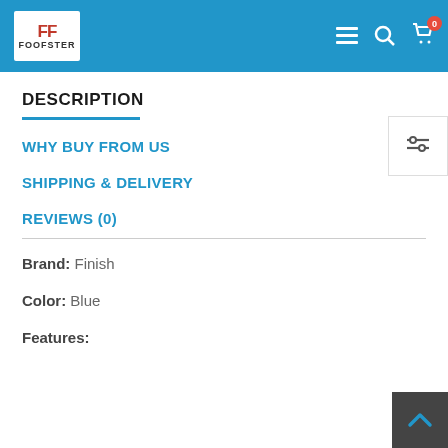FOOFSTER
DESCRIPTION
WHY BUY FROM US
SHIPPING & DELIVERY
REVIEWS (0)
Brand: Finish
Color: Blue
Features: